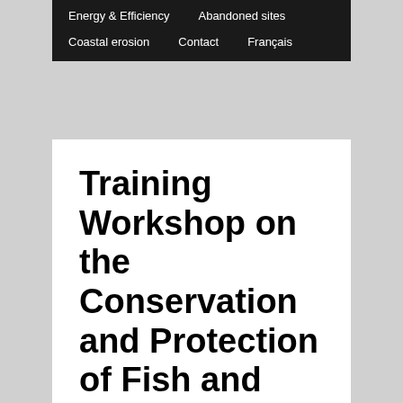Energy & Efficiency   Abandoned sites   Coastal erosion   Contact   Français
Training Workshop on the Conservation and Protection of Fish and Fish Habitat
The First Nations of Quebec and Labrador Sustainable Development Institute held a training workshop on the conservation and protection of fish and their habitat on November 5, 6 and 7, 2019.